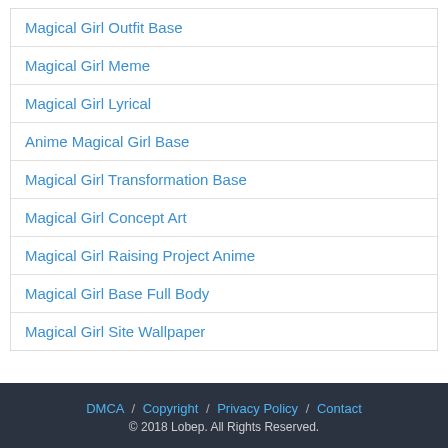Magical Girl Outfit Base
Magical Girl Meme
Magical Girl Lyrical
Anime Magical Girl Base
Magical Girl Transformation Base
Magical Girl Concept Art
Magical Girl Raising Project Anime
Magical Girl Base Full Body
Magical Girl Site Wallpaper
DMCA / Copyright / Privacy Policy / Contact © 2018 Lobep. All Rights Reserved.